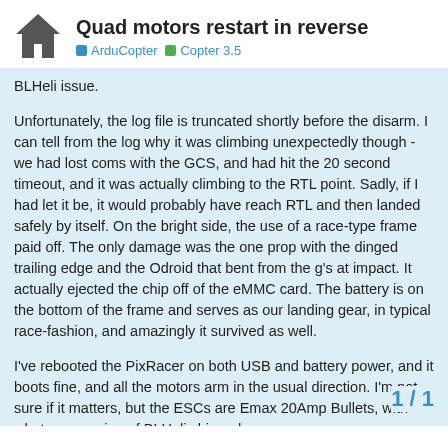Quad motors restart in reverse
ArduCopter   Copter 3.5
BLHeli issue.

Unfortunately, the log file is truncated shortly before the disarm. I can tell from the log why it was climbing unexpectedly though - we had lost coms with the GCS, and had hit the 20 second timeout, and it was actually climbing to the RTL point. Sadly, if I had let it be, it would probably have reach RTL and then landed safely by itself. On the bright side, the use of a race-type frame paid off. The only damage was the one prop with the dinged trailing edge and the Odroid that bent from the g's at impact. It actually ejected the chip off of the eMMC card. The battery is on the bottom of the frame and serves as our landing gear, in typical race-fashion, and amazingly it survived as well.

I've rebooted the PixRacer on both USB and battery power, and it boots fine, and all the motors arm in the usual direction. I'm not sure if it matters, but the ESCs are Emax 20Amp Bullets, with whatever version of BLHeli shipped o Dshot, but as I mentioned, our PixRacer fi
1 / 1